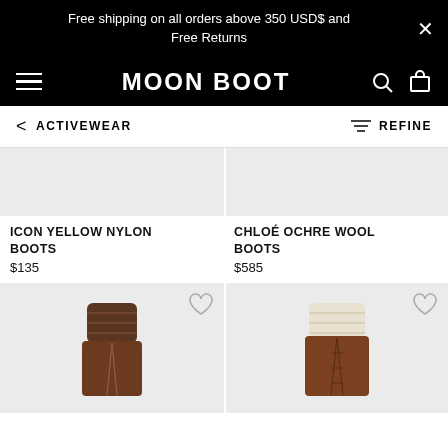Free shipping on all orders above 350 USD$ and Free Returns
[Figure (screenshot): Moon Boot e-commerce website navigation bar with hamburger menu, Moon Boot logo, search and cart icons on black background]
ACTIVEWEAR    REFINE
[Figure (photo): Cropped top portion of product image for Icon Yellow Nylon Boots on light grey background]
ICON YELLOW NYLON BOOTS
$135
[Figure (photo): Cropped top portion of product image for Chloé Ochre Wool Boots on light grey background]
CHLOÉ OCHRE WOOL BOOTS
$585
[Figure (photo): Bottom portion of brown knit/wool boot product photo on light grey background]
[Figure (photo): Bottom portion of brown leather and shearling boot product photo on light grey background]